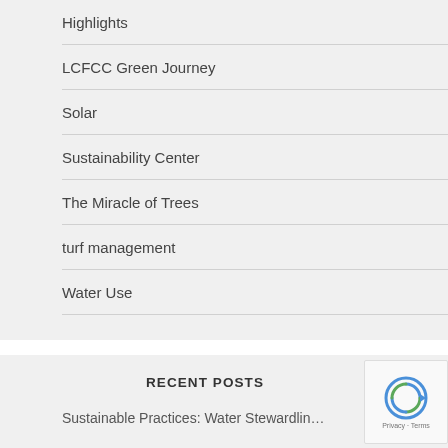Highlights
LCFCC Green Journey
Solar
Sustainability Center
The Miracle of Trees
turf management
Water Use
RECENT POSTS
Sustainable Practices: Water Stewardlin…